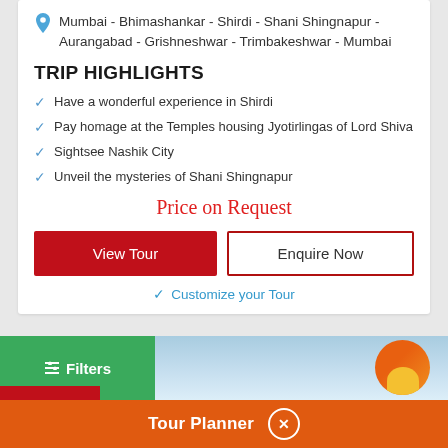Mumbai - Bhimashankar - Shirdi - Shani Shingnapur - Aurangabad - Grishneshwar - Trimbakeshwar - Mumbai
TRIP HIGHLIGHTS
Have a wonderful experience in Shirdi
Pay homage at the Temples housing Jyotirlingas of Lord Shiva
Sightsee Nashik City
Unveil the mysteries of Shani Shingnapur
Price on Request
View Tour
Enquire Now
Customize your Tour
Filters
Tour Planner